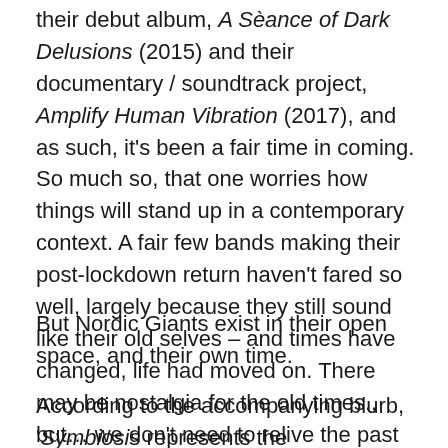their debut album, A Sèance of Dark Delusions (2015) and their documentary / soundtrack project, Amplify Human Vibration (2017), and as such, it's been a fair time in coming. So much so, that one worries how things will stand up in a contemporary context. A fair few bands making their post-lockdown return haven't fared so well, largely because they still sound like their old selves – and times have changed, life had moved on. There may be nostalgia for the old times., but… we don't need to relive the past times. This is not the early 00's heyday of post-rock.
But Nordic Giants exist in their open space, and their own time.
According to the accompanying blurb, 'Symbiosis represents the interdependent relationship of all life. The